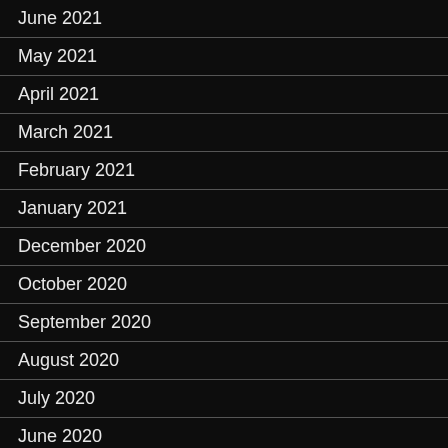June 2021
May 2021
April 2021
March 2021
February 2021
January 2021
December 2020
October 2020
September 2020
August 2020
July 2020
June 2020
May 2020